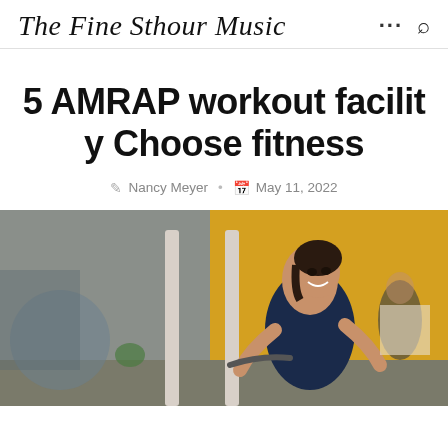The Fine Sthour Music
5 AMRAP workout facility Choose fitness
Nancy Meyer • May 11, 2022
[Figure (photo): A smiling woman with dark hair in a gym/fitness studio setting with a yellow wall in the background, appearing to be on a stationary bike or similar equipment.]